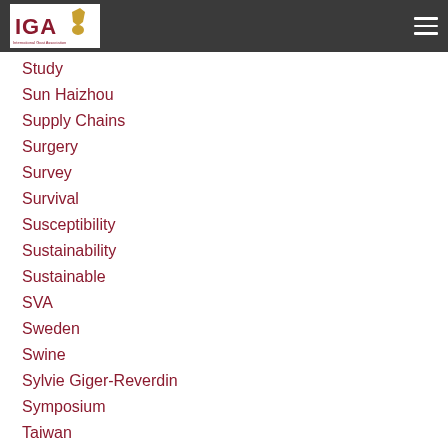IGA - International Goat Association
Study
Sun Haizhou
Supply Chains
Surgery
Survey
Survival
Susceptibility
Sustainability
Sustainable
SVA
Sweden
Swine
Sylvie Giger-Reverdin
Symposium
Taiwan
Tanzania
Technology